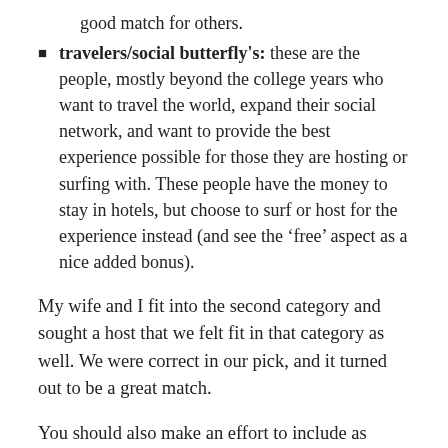good match for others.
travelers/social butterfly's: these are the people, mostly beyond the college years who want to travel the world, expand their social network, and want to provide the best experience possible for those they are hosting or surfing with. These people have the money to stay in hotels, but choose to surf or host for the experience instead (and see the ‘free’ aspect as a nice added bonus).
My wife and I fit into the second category and sought a host that we felt fit in that category as well. We were correct in our pick, and it turned out to be a great match.
You should also make an effort to include as much info. about yourself in your profile before asking anyone to host you. This way the host feels like they know you a